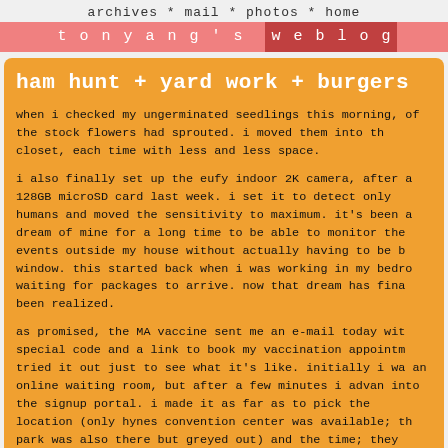archives * mail * photos * home
t o n y a n g ' s   w e b l o g
ham hunt + yard work + burgers
when i checked my ungerminated seedlings this morning, of the stock flowers had sprouted. i moved them into the closet, each time with less and less space.
i also finally set up the eufy indoor 2K camera, after a 128GB microSD card last week. i set it to detect only humans and moved the sensitivity to maximum. it's been a dream of mine for a long time to be able to monitor the events outside my house without actually having to be by the window. this started back when i was working in my bedroom waiting for packages to arrive. now that dream has finally been realized.
as promised, the MA vaccine sent me an e-mail today with a special code and a link to book my vaccination appointment. tried it out just to see what it's like. initially i was in an online waiting room, but after a few minutes i advanced into the signup portal. i made it as far as to pick the location (only hynes convention center was available; fenway park was also there but greyed out) and the time; they had a bunch of available appointments for april 2nd (this friday). it's too bad they contacted me same day right after i got my first dose of the pfizer vaccine, otherwise i would've